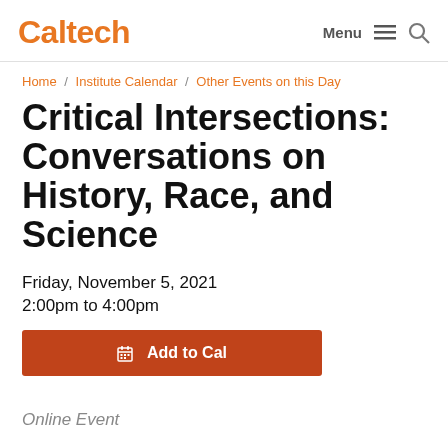Caltech | Menu ≡ 🔍
Home / Institute Calendar / Other Events on this Day
Critical Intersections: Conversations on History, Race, and Science
Friday, November 5, 2021
2:00pm to 4:00pm
Add to Cal
Online Event